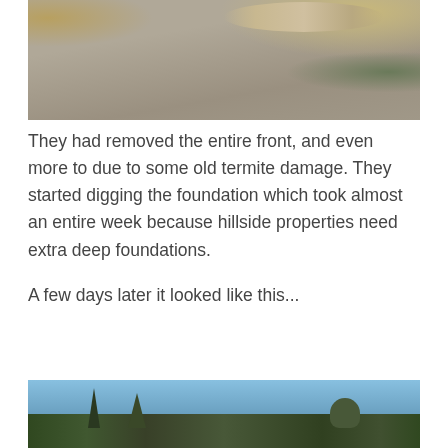[Figure (photo): Construction site photo showing workers digging/demolishing a concrete driveway or foundation area from above, with workers visible in the background]
They had removed the entire front, and even more to due to some old termite damage. They started digging the foundation which took almost an entire week because hillside properties need extra deep foundations.
A few days later it looked like this...
[Figure (photo): Photo of a hillside property showing trees (cypress and other) against a blue sky, with the front of the property visible after demolition/construction work]